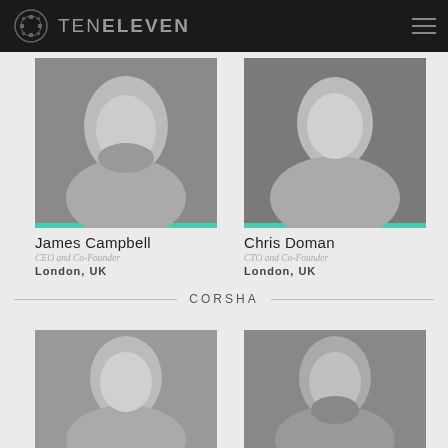TENELEVEN
[Figure (photo): Black and white photo of James Campbell, bearded man outdoors]
James Campbell
CEO and Co-Founder
London, UK
[Figure (photo): Black and white photo of Chris Doman, young smiling man]
Chris Doman
CTO and Co-Founder
London, UK
CORSHA
[Figure (photo): Black and white photo of a woman with dark hair, smiling]
[Figure (photo): Black and white photo of a man with gray beard]